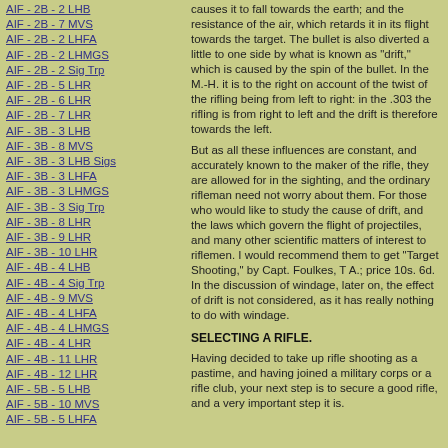AIF - 2B - 2 LHB
AIF - 2B - 7 MVS
AIF - 2B - 2 LHFA
AIF - 2B - 2 LHMGS
AIF - 2B - 2 Sig Trp
AIF - 2B - 5 LHR
AIF - 2B - 6 LHR
AIF - 2B - 7 LHR
AIF - 3B - 3 LHB
AIF - 3B - 8 MVS
AIF - 3B - 3 LHB Sigs
AIF - 3B - 3 LHFA
AIF - 3B - 3 LHMGS
AIF - 3B - 3 Sig Trp
AIF - 3B - 8 LHR
AIF - 3B - 9 LHR
AIF - 3B - 10 LHR
AIF - 4B - 4 LHB
AIF - 4B - 4 Sig Trp
AIF - 4B - 9 MVS
AIF - 4B - 4 LHFA
AIF - 4B - 4 LHMGS
AIF - 4B - 4 LHR
AIF - 4B - 11 LHR
AIF - 4B - 12 LHR
AIF - 5B - 5 LHB
AIF - 5B - 10 MVS
AIF - 5B - 5 LHFA
causes it to fall towards the earth; and the resistance of the air, which retards it in its flight towards the target. The bullet is also diverted a little to one side by what is known as "drift," which is caused by the spin of the bullet. In the M.-H. it is to the right on account of the twist of the rifling being from left to right: in the .303 the rifling is from right to left and the drift is therefore towards the left.
But as all these influences are constant, and accurately known to the maker of the rifle, they are allowed for in the sighting, and the ordinary rifleman need not worry about them. For those who would like to study the cause of drift, and the laws which govern the flight of projectiles, and many other scientific matters of interest to riflemen. I would recommend them to get "Target Shooting," by Capt. Foulkes, T A.; price 10s. 6d. In the discussion of windage, later on, the effect of drift is not considered, as it has really nothing to do with windage.
SELECTING A RIFLE.
Having decided to take up rifle shooting as a pastime, and having joined a military corps or a rifle club, your next step is to secure a good rifle, and a very important step it is.